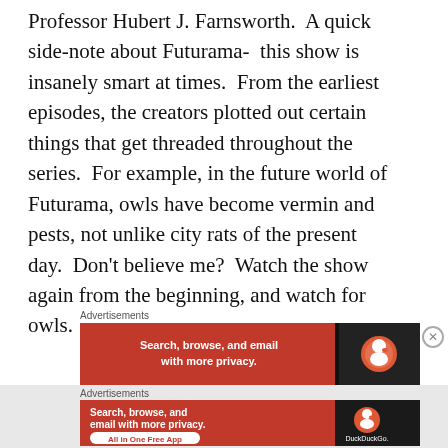Professor Hubert J. Farnsworth.  A quick side-note about Futurama-  this show is insanely smart at times.  From the earliest episodes, the creators plotted out certain things that get threaded throughout the series.  For example, in the future world of Futurama, owls have become vermin and pests, not unlike city rats of the present day.  Don't believe me?  Watch the show again from the beginning, and watch for owls.
[Figure (other): DuckDuckGo advertisement banner (small): orange background with text 'Search, browse, and email with more privacy.' and DuckDuckGo logo on dark right panel]
[Figure (other): DuckDuckGo advertisement banner (expanded): orange background with text 'Search, browse, and email with more privacy.' and 'All in One Free App' button, DuckDuckGo logo on dark right panel]